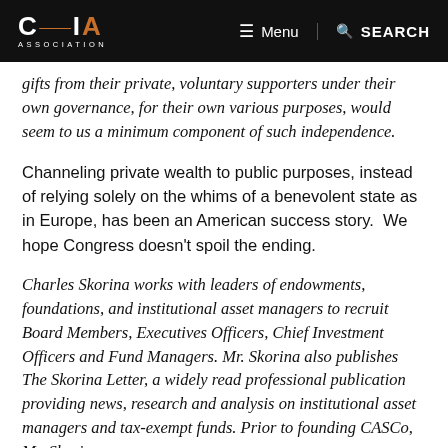CAIA ASSOCIATION | Menu | SEARCH
gifts from their private, voluntary supporters under their own governance, for their own various purposes, would seem to us a minimum component of such independence.
Channeling private wealth to public purposes, instead of relying solely on the whims of a benevolent state as in Europe, has been an American success story.  We hope Congress doesn't spoil the ending.
Charles Skorina works with leaders of endowments, foundations, and institutional asset managers to recruit Board Members, Executives Officers, Chief Investment Officers and Fund Managers. Mr. Skorina also publishes The Skorina Letter, a widely read professional publication providing news, research and analysis on institutional asset managers and tax-exempt funds. Prior to founding CASCo, Mr. Skorina